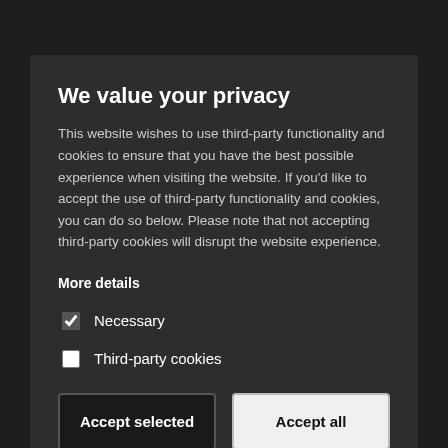We value your privacy
This website wishes to use third-party functionality and cookies to ensure that you have the best possible experience when visiting the website. If you'd like to accept the use of third-party functionality and cookies, you can do so below. Please note that not accepting third-party cookies will disrupt the website experience.
More details
Necessary
Third-party cookies
Accept selected | Accept all